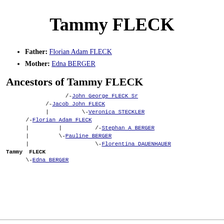Tammy FLECK
Father: Florian Adam FLECK
Mother: Edna BERGER
Ancestors of Tammy FLECK
[Figure (other): Ancestor tree diagram for Tammy FLECK showing: /-John George FLECK Sr, /-Jacob John FLECK, | \-Veronica STECKLER, /-Florian Adam FLECK, | | /-Stephan A BERGER, | \-Pauline BERGER, | \-Florentina DAUENHAUER, Tammy FLECK, \-Edna BERGER]